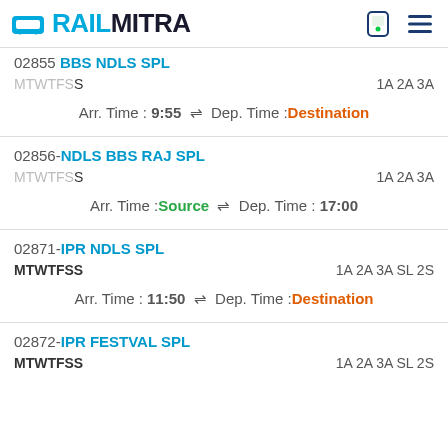RAILMITRA
02855 BBS NDLS SPL
MTWTFS S	1A 2A 3A
Arr. Time : 9:55 ⇌ Dep. Time : Destination
02856-NDLS BBS RAJ SPL
MTWTFS S	1A 2A 3A
Arr. Time : Source ⇌ Dep. Time : 17:00
02871-IPR NDLS SPL
MTWTFSS	1A 2A 3A SL 2S
Arr. Time : 11:50 ⇌ Dep. Time : Destination
02872-IPR FESTVAL SPL
MTWTFSS	1A 2A 3A SL 2S